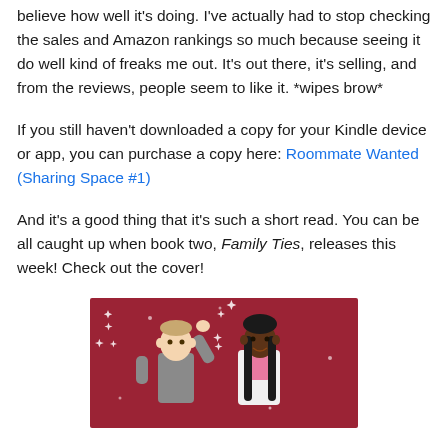believe how well it's doing. I've actually had to stop checking the sales and Amazon rankings so much because seeing it do well kind of freaks me out. It's out there, it's selling, and from the reviews, people seem to like it. *wipes brow*
If you still haven't downloaded a copy for your Kindle device or app, you can purchase a copy here: Roommate Wanted (Sharing Space #1)
And it's a good thing that it's such a short read. You can be all caught up when book two, Family Ties, releases this week! Check out the cover!
[Figure (illustration): Book cover illustration showing two cartoon characters on a red sparkly background — a man in a grey shirt with hand raised, and a woman in a pink and white outfit with long black hair.]